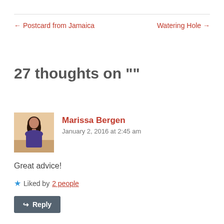← Postcard from Jamaica
Watering Hole →
27 thoughts on ""
Marissa Bergen
January 2, 2016 at 2:45 am
Great advice!
Liked by 2 people
Reply